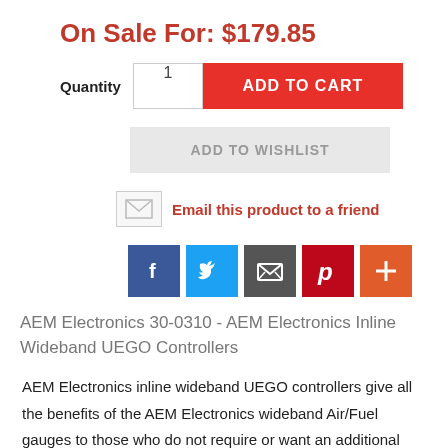On Sale For: $179.85
Quantity  1  ADD TO CART
ADD TO WISHLIST
Email this product to a friend
[Figure (other): Social share buttons: Facebook, Twitter, Email, Pinterest, More]
AEM Electronics 30-0310 - AEM Electronics Inline Wideband UEGO Controllers
AEM Electronics inline wideband UEGO controllers give all the benefits of the AEM Electronics wideband Air/Fuel gauges to those who do not require or want an additional